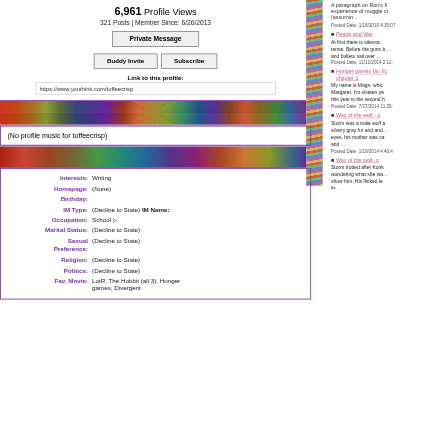6,961 Profile Views
321 Posts | Member Since: 6/26/2013
Private Message
Buddy Invite | Subscribe
Link to this profile:
https://www.youthink.com/toffeecrisp
[Figure (illustration): Decorative colorful swirl art band]
(No profile music for toffeecrisp)
[Figure (illustration): Decorative colorful swirl art band]
Interests: Writing
Homepage: (None)
Birthday:
IM Type: (Decline to State) IM Name:
Occupation: School )-:
Marital Status: (Decline to State)
Sexual Preference: (Decline to State)
Religion: (Decline to State)
Politics: (Decline to State)
Fav. Movie: LotR, The Hobbit (all 3), Hunger games, Divergent
A paragraph on Ron's fi... experience of muggle cl... (assumin... Posted Date: 1/18/2015 4:35:07
Peace and War
At first there is silence, tense, Before the guns b... and bullets sail over ... Posted Date: 11/11/2014 2:12:
Hunger games fan fic chapter 1
My name is Mags- whic Margaret. I'm sixteen ye this year is the second h Posted Date: 7/27/2014 11:29:
Way of the wolf - p
Storm was a male wolf a silvery gray fur and and... eyes, his mother was ca and ... Posted Date: 1/19/2014 4:46:4
Way of the wolf- p
Storm trotted after Konk wondering what she wa... show him. His flicked le lis...